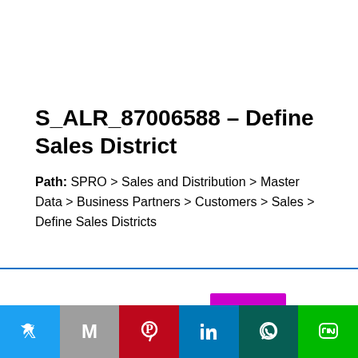S_ALR_87006588 – Define Sales District
Path: SPRO > Sales and Distribution > Master Data > Business Partners > Customers > Sales > Define Sales Districts
Este site utiliza cookies
[Figure (infographic): Social share bar with Twitter, Gmail, Pinterest, LinkedIn, WhatsApp, and LINE icons]